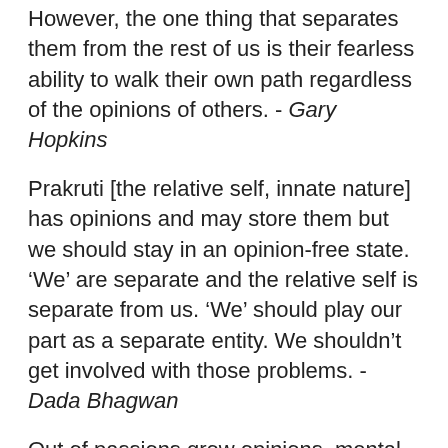However, the one thing that separates them from the rest of us is their fearless ability to walk their own path regardless of the opinions of others. - Gary Hopkins
Prakruti [the relative self, innate nature] has opinions and may store them but we should stay in an opinion-free state. ‘We’ are separate and the relative self is separate from us. ‘We’ should play our part as a separate entity. We shouldn’t get involved with those problems. - Dada Bhagwan
Out of passions grow opinions, mental sloth lets these rigidify into convictions. - Friedrich Nietzsche